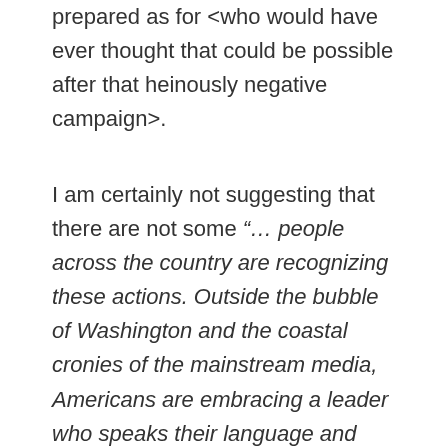prepared as for <who would have ever thought that could be possible after that heinously negative campaign>.
I am certainly not suggesting that there are not some “… people across the country are recognizing these actions. Outside the bubble of Washington and the coastal cronies of the mainstream media, Americans are embracing a leader who speaks their language and acknowledges their problems."